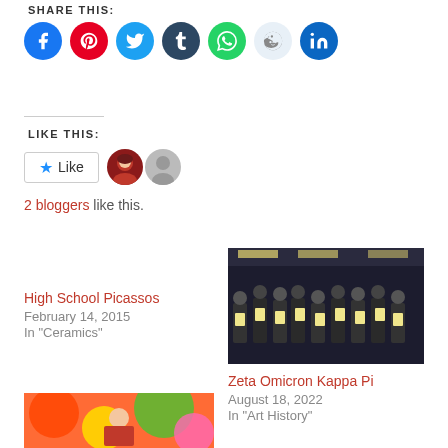SHARE THIS:
[Figure (infographic): Social media share buttons: Facebook, Pinterest, Twitter, Tumblr, WhatsApp, Reddit, LinkedIn]
LIKE THIS:
[Figure (infographic): Like button with star icon and two blogger avatars]
2 bloggers like this.
High School Picassos
February 14, 2015
In "Ceramics"
[Figure (photo): Group photo of students holding certificates at Zeta Omicron Kappa Pi event]
Zeta Omicron Kappa Pi
August 18, 2022
In "Art History"
[Figure (photo): Colorful art image at the bottom left]